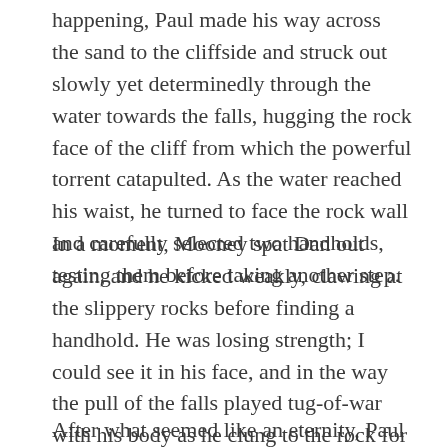happening, Paul made his way across the sand to the cliffside and struck out slowly yet determinedly through the water towards the falls, hugging the rock face of the cliff from which the powerful torrent catapulted. As the water reached his waist, he turned to face the rock wall and carefully selected two handholds, testing them before taking another step.
In a moment, Mooney spat Dan out again, and he kicked weakly, clawing at the slippery rocks before finding a handhold. He was losing strength; I could see it in his face, and in the way the pull of the falls played tug-of-war with his body as he clung to the rock for dear life.
After what seemed like an eternity, Paul